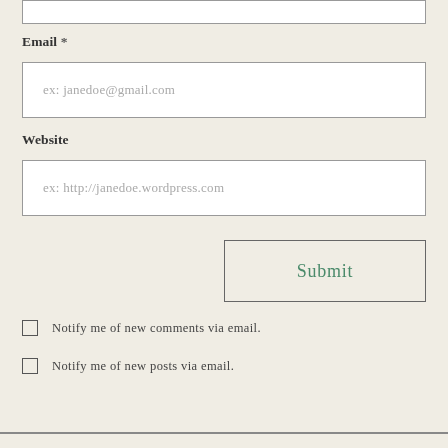Email *
ex: janedoe@gmail.com
Website
ex: http://janedoe.wordpress.com
Submit
Notify me of new comments via email.
Notify me of new posts via email.